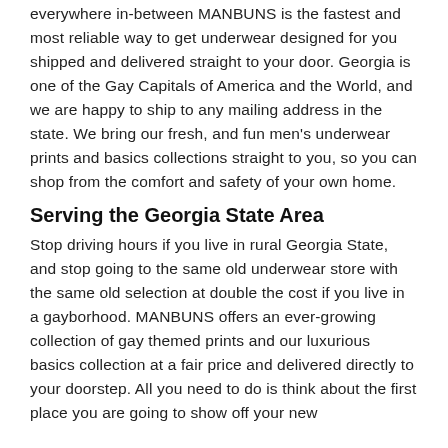everywhere in-between MANBUNS is the fastest and most reliable way to get underwear designed for you shipped and delivered straight to your door. Georgia is one of the Gay Capitals of America and the World, and we are happy to ship to any mailing address in the state. We bring our fresh, and fun men's underwear prints and basics collections straight to you, so you can shop from the comfort and safety of your own home.
Serving the Georgia State Area
Stop driving hours if you live in rural Georgia State, and stop going to the same old underwear store with the same old selection at double the cost if you live in a gayborhood. MANBUNS offers an ever-growing collection of gay themed prints and our luxurious basics collection at a fair price and delivered directly to your doorstep. All you need to do is think about the first place you are going to show off your new